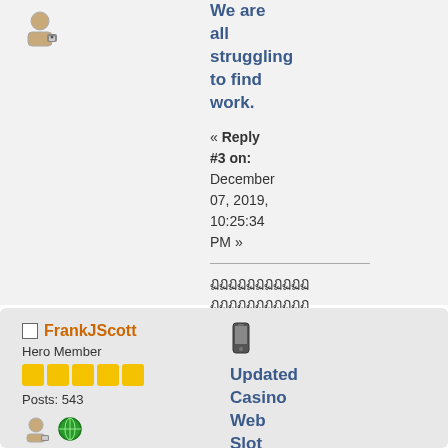[Figure (illustration): User avatar icon (person with lock) in top-left of post]
We are all struggling to find work.
« Reply #3 on: December 07, 2019, 10:25:34 PM »
Thai script text (forum post content)
https://slotxo555
[Figure (illustration): Logged icon (small image icon) next to Logged text]
Logged
FrankJScott
Hero Member
[Figure (illustration): Five yellow star/rating squares]
Posts: 543
[Figure (illustration): User avatar and globe icon at bottom left]
[Figure (illustration): Mobile phone icon]
Updated Casino Web Slot Link